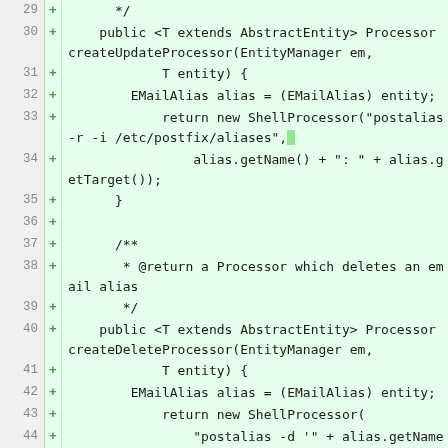Code diff showing lines 29-46 of a Java file implementing createUpdateProcessor and createDeleteProcessor methods for email alias shell processors.
29  +     */
30  +   public <T extends AbstractEntity> Processor createUpdateProcessor(EntityManager em,
31  +           T entity) {
32  +       EMailAlias alias = (EMailAlias) entity;
33  +           return new ShellProcessor("postalias -r -i /etc/postfix/aliases",
34  +               alias.getName() + ": " + alias.getTarget());
35  +     }
36  +
37  +     /**
38  +      * @return a Processor which deletes an email alias
39  +      */
40  +   public <T extends AbstractEntity> Processor createDeleteProcessor(EntityManager em,
41  +           T entity) {
42  +       EMailAlias alias = (EMailAlias) entity;
43  +           return new ShellProcessor(
44  +               "postalias -d '" + alias.getName() + "' /etc/postfix/aliases");
45  +     }
46  + }